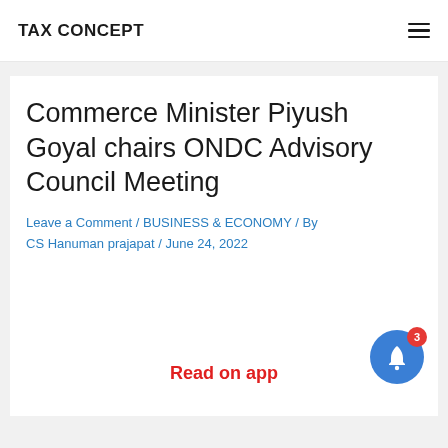TAX CONCEPT
Commerce Minister Piyush Goyal chairs ONDC Advisory Council Meeting
Leave a Comment / BUSINESS & ECONOMY / By CS Hanuman prajapat / June 24, 2022
Read on app